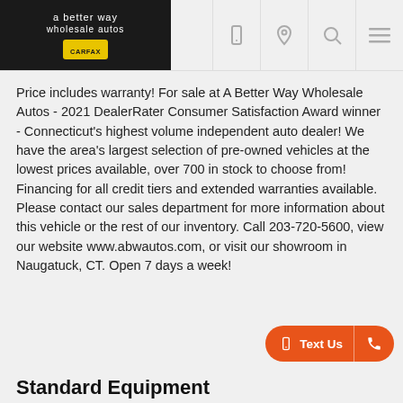a better way wholesale autos
Price includes warranty!  For sale at A Better Way Wholesale Autos - 2021 DealerRater Consumer Satisfaction Award winner - Connecticut's highest volume independent auto dealer!  We have the area's largest selection of pre-owned vehicles at the lowest prices available, over 700 in stock to choose from!  Financing for all credit tiers and extended warranties available.  Please contact our sales department for more information about this vehicle or the rest of our inventory.  Call 203-720-5600, view our website www.abwautos.com, or visit our showroom in Naugatuck, CT.  Open 7 days a week!
Standard Equipment